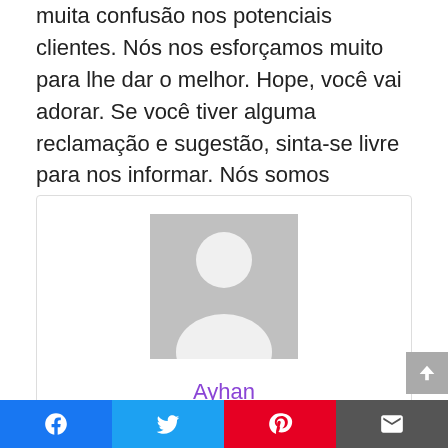muita confusão nos potenciais clientes. Nós nos esforçamos muito para lhe dar o melhor. Hope, você vai adorar. Se você tiver alguma reclamação e sugestão, sinta-se livre para nos informar. Nós somos obrigados a ajudá-lo.
[Figure (illustration): Author profile box with a gray placeholder avatar silhouette and the name 'Ayhan' in purple below it, inside a light-bordered box.]
Social share bar with Facebook, Twitter, Pinterest, and email icons